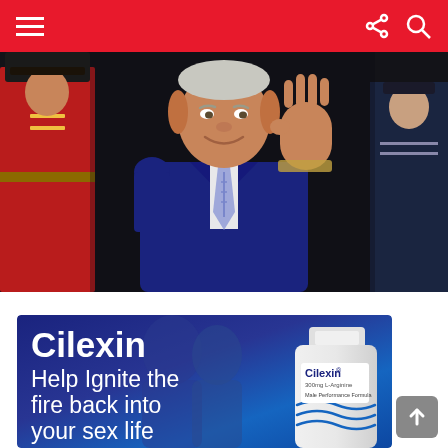Navigation bar with hamburger menu, share and search icons
[Figure (photo): A man in a blue suit waving, flanked by guards in red and blue military uniforms]
[Figure (advertisement): Cilexin advertisement: 'Cilexin - Help Ignite the fire back into your sex life' with a bottle of Cilexin Male Performance Formula supplement]